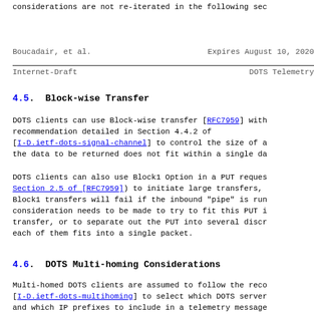considerations are not re-iterated in the following sec
Boucadair, et al.          Expires August 10, 2020
Internet-Draft                    DOTS Telemetry
4.5.  Block-wise Transfer
DOTS clients can use Block-wise transfer [RFC7959] with
recommendation detailed in Section 4.4.2 of
[I-D.ietf-dots-signal-channel] to control the size of a
the data to be returned does not fit within a single da
DOTS clients can also use Block1 Option in a PUT reques
Section 2.5 of [RFC7959]) to initiate large transfers,
Block1 transfers will fail if the inbound "pipe" is run
consideration needs to be made to try to fit this PUT i
transfer, or to separate out the PUT into several discr
each of them fits into a single packet.
4.6.  DOTS Multi-homing Considerations
Multi-homed DOTS clients are assumed to follow the reco
[I-D.ietf-dots-multihoming] to select which DOTS server
and which IP prefixes to include in a telemetry message